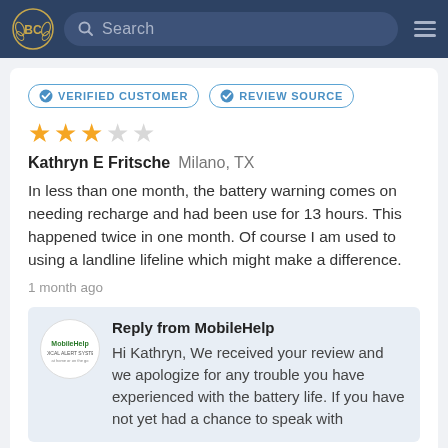BC [logo] Search [hamburger menu]
VERIFIED CUSTOMER   REVIEW SOURCE
3 out of 5 stars
Kathryn E Fritsche  Milano, TX
In less than one month, the battery warning comes on needing recharge and had been use for 13 hours. This happened twice in one month. Of course I am used to using a landline lifeline which might make a difference.
1 month ago
Reply from MobileHelp
Hi Kathryn, We received your review and we apologize for any trouble you have experienced with the battery life. If you have not yet had a chance to speak with